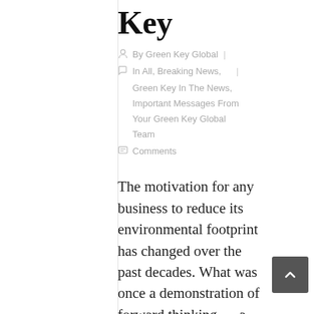Key
By Green Key Global | In All, Breaking News, | Green Key In The News, Important Messages From Your Green Key Global Team
Comments
The motivation for any business to reduce its environmental footprint has changed over the past decades. What was once a demonstration of forward thinking — a way for a business to show it cared about the planet — has become a necessary part of